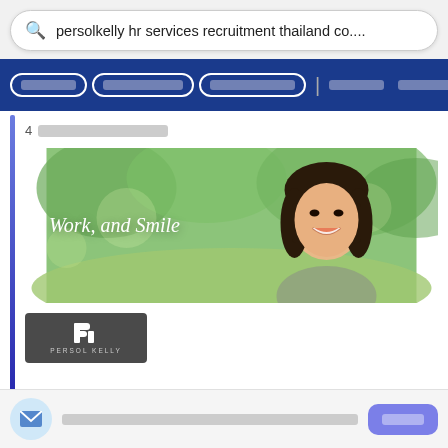persolkelly hr services recruitment thailand co....
[Figure (screenshot): Navigation bar with Thai language filter buttons on dark blue background]
4 [Thai text - result count]
[Figure (photo): Banner image showing a smiling young Asian woman outdoors with green background. Text overlay reads 'Work, and Smile']
[Figure (logo): PERSOL KELLY logo on dark gray background]
[Thai text notification message]